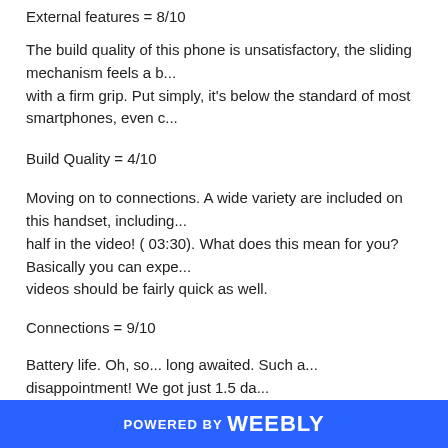External features = 8/10
The build quality of this phone is unsatisfactory, the sliding mechanism feels a b... with a firm grip. Put simply, it's below the standard of most smartphones, even c...
Build Quality = 4/10
Moving on to connections. A wide variety are included on this handset, including... half in the video! ( 03:30). What does this mean for you? Basically you can expe... videos should be fairly quick as well.
Connections = 9/10
Battery life. Oh, so... long awaited. Such a...  disappointment! We got just 1.5 da... What on earth happened here?! If this was a 1GHZ Super Phone we could unde...
Battery Life = 5/10
Let's take a look at the operating system inside this phone. It runs Android 2.1, w... buttons along the right hand side of the screen, each leading to phone, menu or... sure for plenty of other people too. You know the good old nexus wallpaper on a... them? Well I loaded it up on here, and the result was vile. There are no smooth...
POWERED BY weebly